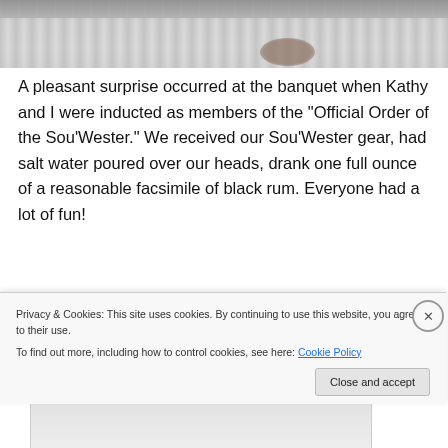[Figure (photo): Photo of people seated at a banquet table with white skirted tablecloth, partially visible]
A pleasant surprise occurred at the banquet when Kathy and I were inducted as members of the “Official Order of the Sou’Wester.” We received our Sou’Wester gear, had salt water poured over our heads, drank one full ounce of a reasonable facsimile of black rum. Everyone had a lot of fun!
[Figure (photo): Partially visible photo below text, with a woven/lattice pattern visible at top]
Privacy & Cookies: This site uses cookies. By continuing to use this website, you agree to their use.
To find out more, including how to control cookies, see here: Cookie Policy
Close and accept